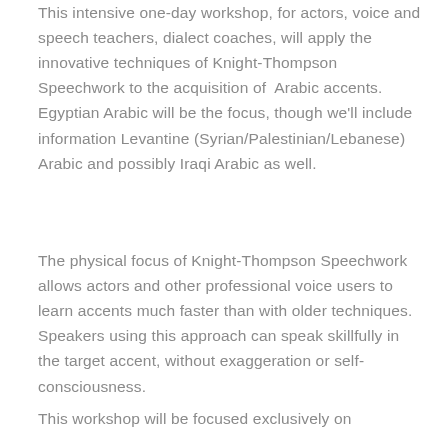This intensive one-day workshop, for actors, voice and speech teachers, dialect coaches, will apply the innovative techniques of Knight-Thompson Speechwork to the acquisition of Arabic accents. Egyptian Arabic will be the focus, though we'll include information Levantine (Syrian/Palestinian/Lebanese) Arabic and possibly Iraqi Arabic as well.
The physical focus of Knight-Thompson Speechwork allows actors and other professional voice users to learn accents much faster than with older techniques. Speakers using this approach can speak skillfully in the target accent, without exaggeration or self-consciousness.
This workshop will be focused exclusively on